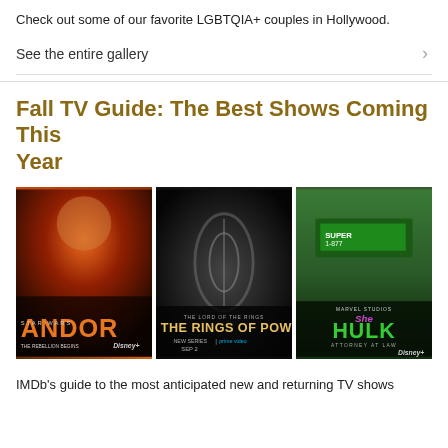Check out some of our favorite LGBTQIA+ couples in Hollywood.
See the entire gallery
Fall TV Guide: The Best Shows Coming This Year
[Figure (photo): Three TV show promotional posters: Star Wars Andor (Disney+), The Lord of the Rings: The Rings of Power (Prime Video, New Series Sep 2), and She-Hulk Attorney at Law (Marvel Studios, Disney+)]
IMDb's guide to the most anticipated new and returning TV shows